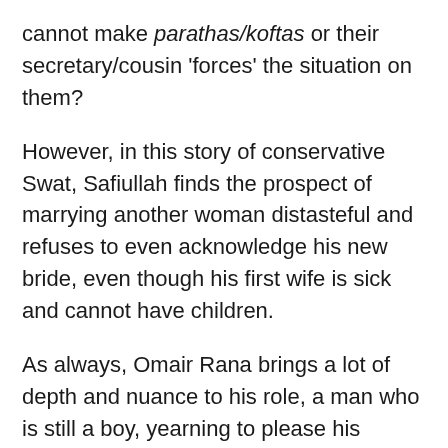cannot make parathas/koftas or their secretary/cousin 'forces' the situation on them?
However, in this story of conservative Swat, Safiullah finds the prospect of marrying another woman distasteful and refuses to even acknowledge his new bride, even though his first wife is sick and cannot have children.
As always, Omair Rana brings a lot of depth and nuance to his role, a man who is still a boy, yearning to please his father. Saif Ur Rehman is another case in point; he makes a mistake but in his own way he cares for his sister. In fact, all the men are shown to be very protective of the women in their families.